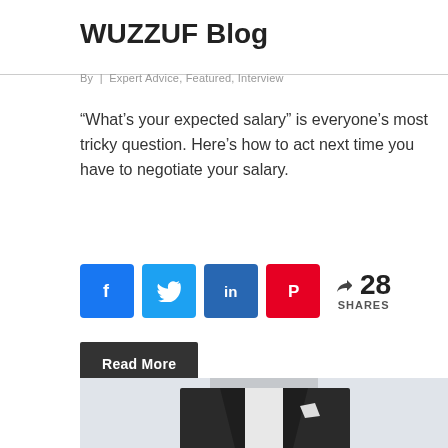WUZZUF Blog
By | Expert Advice, Featured, Interview
“What’s your expected salary” is everyone’s most tricky question. Here’s how to act next time you have to negotiate your salary.
[Figure (infographic): Social share buttons: Facebook, Twitter, LinkedIn, Pinterest. Share count: 28 SHARES. Read More button.]
[Figure (photo): Bottom portion of a man in a dark suit with white shirt visible, photographed from chest down.]